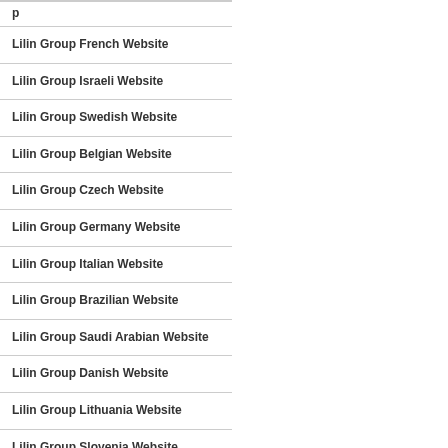Lilin Group French Website
Lilin Group Israeli Website
Lilin Group Swedish Website
Lilin Group Belgian Website
Lilin Group Czech Website
Lilin Group Germany Website
Lilin Group Italian Website
Lilin Group Brazilian Website
Lilin Group Saudi Arabian Website
Lilin Group Danish Website
Lilin Group Lithuania Website
Lilin Group Slovenia Website
Lilin Group Greek Website
Lilin Group Hungarian Website
Lilin Group Polish Website